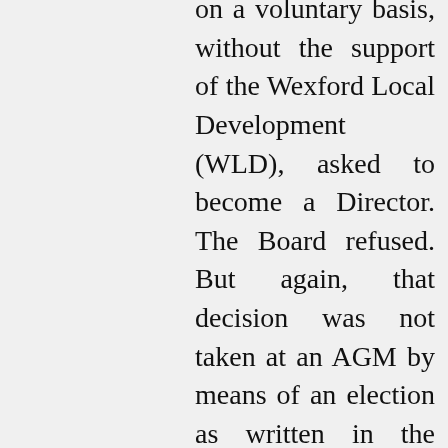on a voluntary basis, without the support of the Wexford Local Development (WLD), asked to become a Director. The Board refused. But again, that decision was not taken at an AGM by means of an election as written in the Memorandum of the Ros Tapestry Project.

On October 5th the